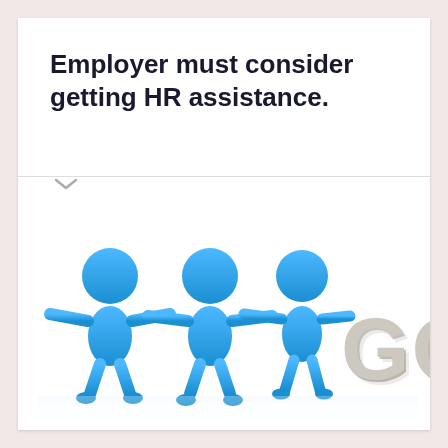Employer must consider getting HR assistance.
[Figure (illustration): Three blue 3D cartoon figures standing side by side with arms outstretched, next to large 3D block letters spelling GOAL in light grey/beige color.]